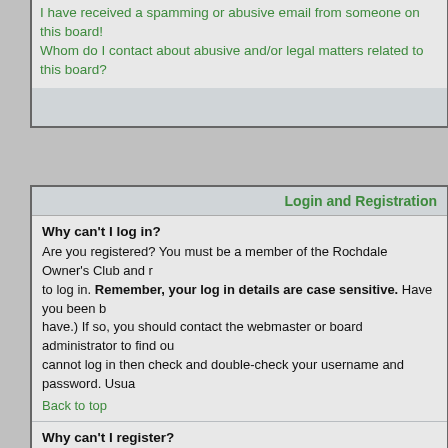I have received a spamming or abusive email from someone on this board! Whom do I contact about abusive and/or legal matters related to this board?
Login and Registration
Why can't I log in?
Are you registered? You must be a member of the Rochdale Owner's Club and r... to log in. Remember, your log in details are case sensitive. Have you been b... have.) If so, you should contact the webmaster or board administrator to find ou... cannot log in then check and double-check your username and password. Usua...
Back to top
Why can't I register?
In the interests of limiting the forum users to paid-up members of the Rochdale O... on becoming a member. This also prevents the forum being open to spam attac...
Back to top
Why do I get logged off automatically?
If you do not check the Log me in automatically box when you log in, the board w... misuse of your account by anyone else. To stay logged in, check the box during... from a shared computer, e.g. library, internet cafe, university cluster, etc.
Back to top